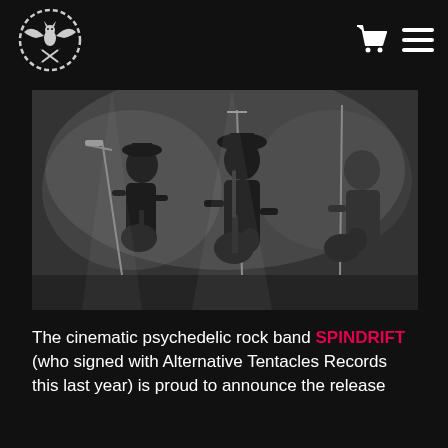Alternative Tentacles logo with navigation icons (cart and menu)
[Figure (photo): Black and white live concert photograph showing two guitarists performing on stage in a hazy, smoky atmosphere. The performers are backlit with dramatic lighting, wearing hats and playing electric guitars.]
The cinematic psychedelic rock band SPINDRIFT (who signed with Alternative Tentacles Records this last year) is proud to announce the release